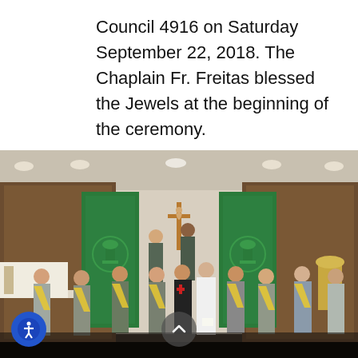Council 4916 on Saturday September 22, 2018. The Chaplain Fr. Freitas blessed the Jewels at the beginning of the ceremony.
[Figure (photo): Group photo of approximately 13 men posed inside a church sanctuary. Several men are wearing yellow and white sashes/regalia (Knights of Columbus style). In the background are green liturgical banners with chalice symbols, a crucifix on the wall, and wooden paneling. One man in the center wears a white priest's alb, another wears a black suit with a red cross emblem. The setting appears to be a Catholic church.]